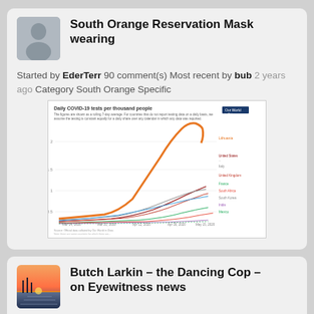South Orange Reservation Mask wearing
Started by EderTerr 90 comment(s) Most recent by bub 2 years ago Category South Orange Specific
[Figure (line-chart): Daily COVID-19 tests per thousand people line chart showing multiple countries including Lithuania (orange), United States, Italy, United Kingdom, France, South Africa, South Korea, India, Mexico]
Butch Larkin – the Dancing Cop – on Eyewitness news
Started by jamie 6 comment(s) Most recent by soda 2 years ago Category South Orange Specific